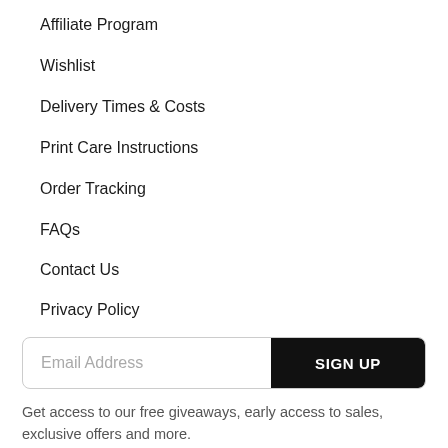Affiliate Program
Wishlist
Delivery Times & Costs
Print Care Instructions
Order Tracking
FAQs
Contact Us
Privacy Policy
Email Address  SIGN UP
Get access to our free giveaways, early access to sales, exclusive offers and more.